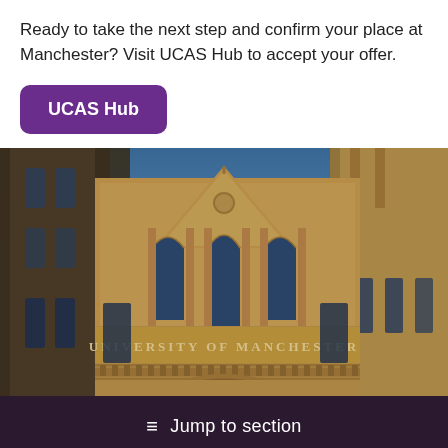Ready to take the next step and confirm your place at Manchester? Visit UCAS Hub to accept your offer.
[Figure (other): Button labeled 'UCAS Hub' with purple rounded rectangle background]
[Figure (photo): Photograph of the University of Manchester main building facade, Gothic Revival architecture with pointed gable, arched windows, stone inscription reading 'UNIVERSITY OF MANCHESTER', taken from low angle against blue sky]
≡  Jump to section